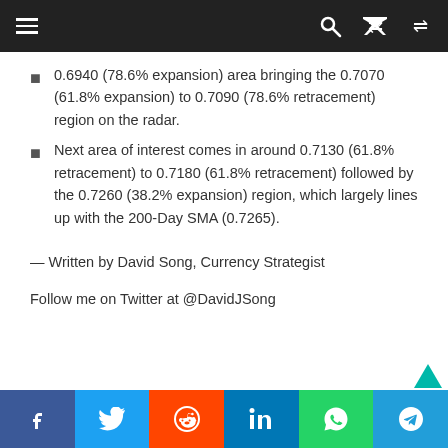Navigation bar with menu, search, and shuffle icons
0.6940 (78.6% expansion) area bringing the 0.7070 (61.8% expansion) to 0.7090 (78.6% retracement) region on the radar.
Next area of interest comes in around 0.7130 (61.8% retracement) to 0.7180 (61.8% retracement) followed by the 0.7260 (38.2% expansion) region, which largely lines up with the 200-Day SMA (0.7265).
— Written by David Song, Currency Strategist
Follow me on Twitter at @DavidJSong
Social share bar: Facebook, Twitter, Reddit, LinkedIn, WhatsApp, Telegram